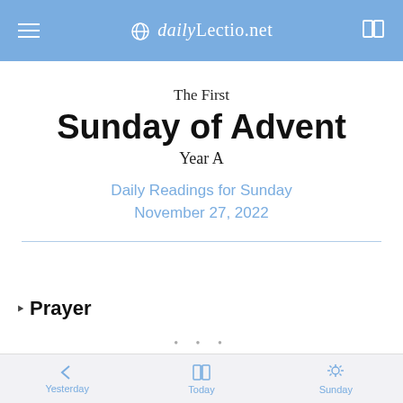dailyLectio.net
The First
Sunday of Advent
Year A
Daily Readings for Sunday
November 27, 2022
Prayer
Yesterday   Today   Sunday